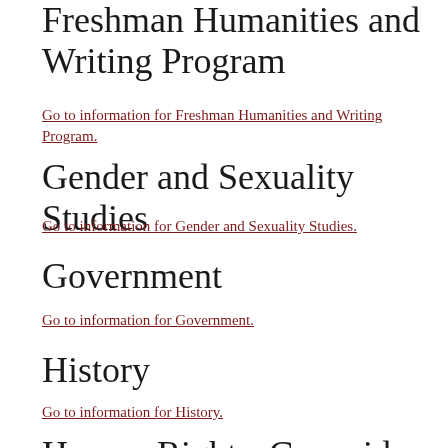Freshman Humanities and Writing Program
Go to information for Freshman Humanities and Writing Program.
Gender and Sexuality Studies
Go to information for Gender and Sexuality Studies.
Government
Go to information for Government.
History
Go to information for History.
Human Rights, Genocide, and Holocaust Studies